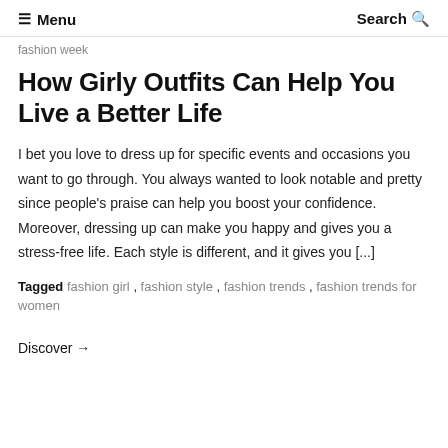≡ Menu   Search 🔍
fashion week
How Girly Outfits Can Help You Live a Better Life
I bet you love to dress up for specific events and occasions you want to go through. You always wanted to look notable and pretty since people's praise can help you boost your confidence. Moreover, dressing up can make you happy and gives you a stress-free life. Each style is different, and it gives you [...]
Tagged fashion girl , fashion style , fashion trends , fashion trends for women
Discover →